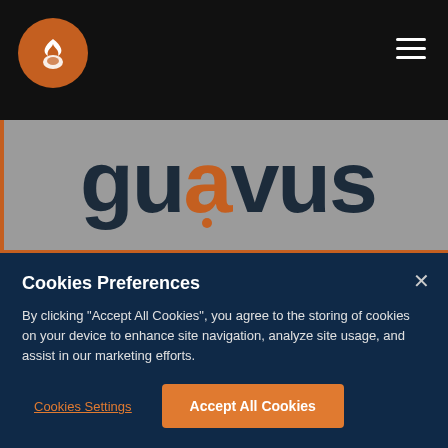[Figure (logo): Dark navigation bar with orange circular logo (flame icon) on the left and hamburger menu icon on the right, black background]
[Figure (logo): Guavus company logo in large dark text on gray background, with orange dot above the letter 'v', and the word 'Guavus' in smaller text below]
Cookies Preferences
By clicking “Accept All Cookies”, you agree to the storing of cookies on your device to enhance site navigation, analyze site usage, and assist in our marketing efforts.
Cookies Settings
Accept All Cookies